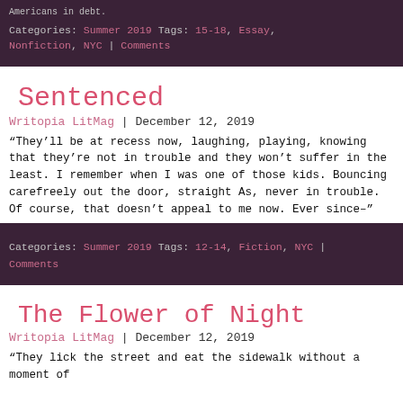Americans in debt.
Categories: Summer 2019 Tags: 15-18, Essay, Nonfiction, NYC | Comments
Sentenced
Writopia LitMag | December 12, 2019
“They’ll be at recess now, laughing, playing, knowing that they’re not in trouble and they won’t suffer in the least. I remember when I was one of those kids. Bouncing carefreely out the door, straight As, never in trouble. Of course, that doesn’t appeal to me now. Ever since–”
Categories: Summer 2019 Tags: 12-14, Fiction, NYC | Comments
The Flower of Night
Writopia LitMag | December 12, 2019
“They lick the street and eat the sidewalk without a moment of